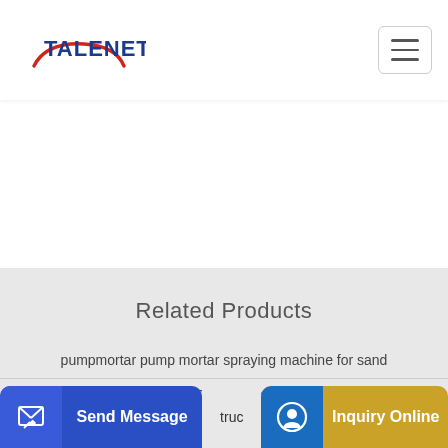TALENET
Related Products
pumpmortar pump mortar spraying machine for sand
China Factory price concrete mixer trucks low price in stock on
Send Message
Inquiry Online